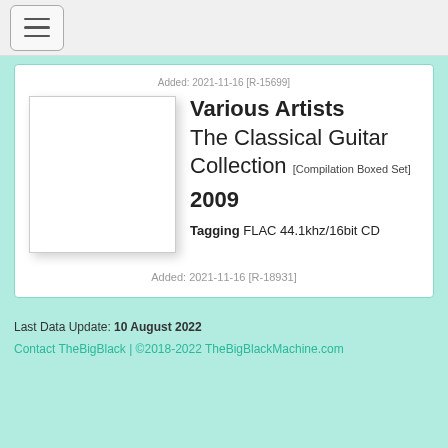[hamburger menu button]
Added: 2021-11-16 [R-15699]
[Figure (illustration): Blank white album art square with drop shadow]
Various Artists
The Classical Guitar Collection [Compilation Boxed Set]
2009
Tagging FLAC 44.1khz/16bit CD
Added: 2021-11-16 [R-18931]
Last Data Update: 10 August 2022
Contact TheBigBlack | ©2018-2022 TheBigBlackMachine.com